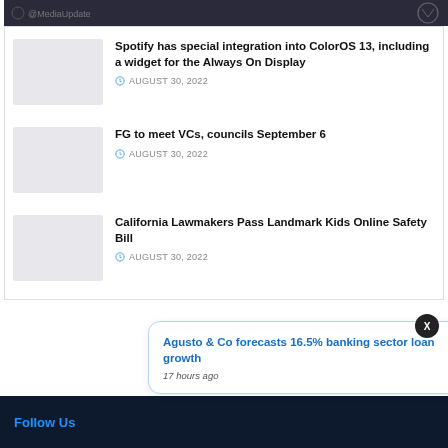[Figure (photo): Dark header image with partial logo/icon visible]
Spotify has special integration into ColorOS 13, including a widget for the Always On Display
AUGUST 30, 2022
FG to meet VCs, councils September 6
AUGUST 30, 2022
California Lawmakers Pass Landmark Kids Online Safety Bill
AUGUST 30, 2022
Agusto & Co forecasts 16.5% banking sector loan growth
17 hours ago
Follow Us